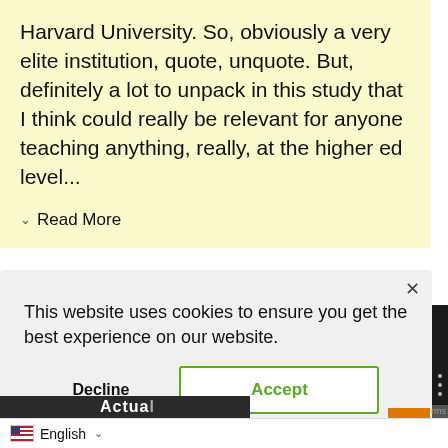Harvard University. So, obviously a very elite institution, quote, unquote. But, definitely a lot to unpack in this study that I think could really be relevant for anyone teaching anything, really, at the higher ed level...
Read More
This website uses cookies to ensure you get the best experience on our website.
Decline
Accept
English